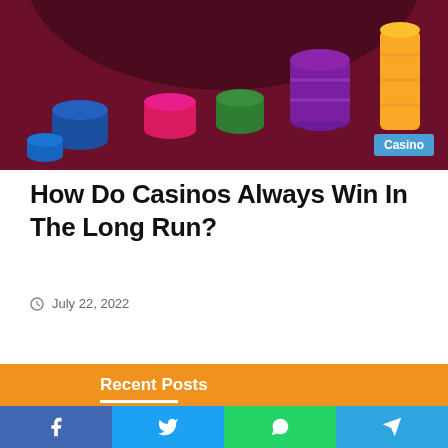[Figure (photo): Colorful casino chips scattered on a roulette table with a casino badge overlay]
How Do Casinos Always Win In The Long Run?
July 22, 2022
Recent Posts
[Figure (photo): Six thumbnail images in a 2x3 grid showing various blog post topics]
[Figure (infographic): Social share bar with Facebook, Twitter, WhatsApp, and Telegram buttons]